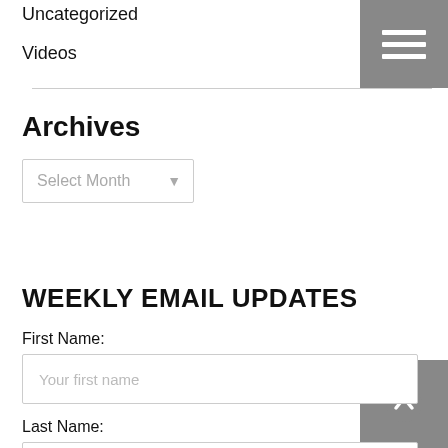Uncategorized
Videos
Archives
Select Month
WEEKLY EMAIL UPDATES
First Name:
Your first name
Last Name:
Your last name